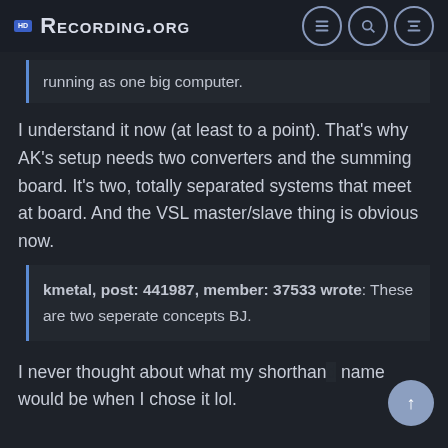Recording.org
running as one big computer.
I understand it now (at least to a point). That's why AK's setup needs two converters and the summing board. It's two, totally separated systems that meet at board. And the VSL master/slave thing is obvious now.
kmetal, post: 441987, member: 37533 wrote: These are two seperate concepts BJ.
I never thought about what my shorthand name would be when I chose it lol.